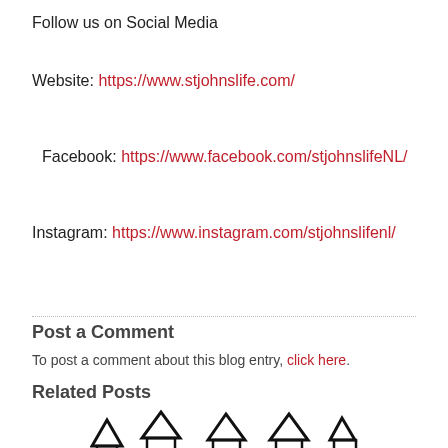Follow us on Social Media
Website: https://www.stjohnslife.com/
Facebook: https://www.facebook.com/stjohnslifeNL/
Instagram: https://www.instagram.com/stjohnslifenl/
Post a Comment
To post a comment about this blog entry, click here.
Related Posts
[Figure (illustration): Row of illustrated house icons in black and white silhouette style]